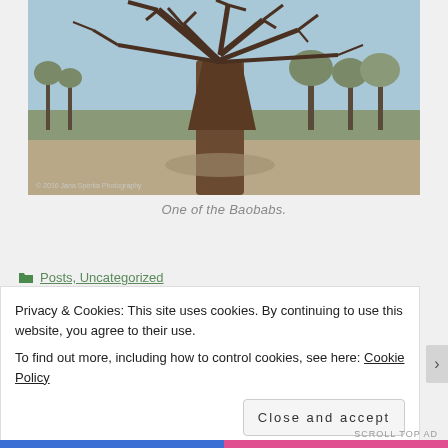[Figure (photo): Photograph of a large baobab tree with bare branches against a pale blue sky, surrounded by scrubland. A copyright notice reads '© 2016 Jana Sperka Photography' in the lower left corner.]
One of the Baobabs.
Posts, Uncategorized
Privacy & Cookies: This site uses cookies. By continuing to use this website, you agree to their use.
To find out more, including how to control cookies, see here: Cookie Policy
Close and accept